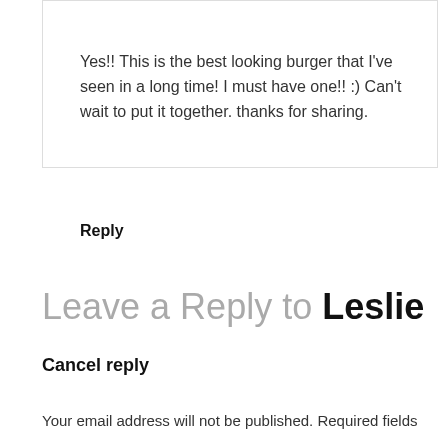Yes!! This is the best looking burger that I've seen in a long time! I must have one!! :) Can't wait to put it together. thanks for sharing.
Reply
Leave a Reply to Leslie
Cancel reply
Your email address will not be published. Required fields